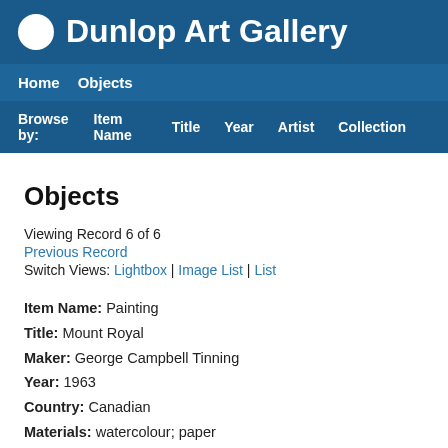Dunlop Art Gallery
Home  Objects
Browse by:  Item Name  Title  Year  Artist  Collection
Objects
Viewing Record 6 of 6
Previous Record
Switch Views: Lightbox | Image List | List
Item Name: Painting
Title: Mount Royal
Maker: George Campbell Tinning
Year: 1963
Country: Canadian
Materials: watercolour; paper
Measurements: overall: 15 1/2 in x 22 in